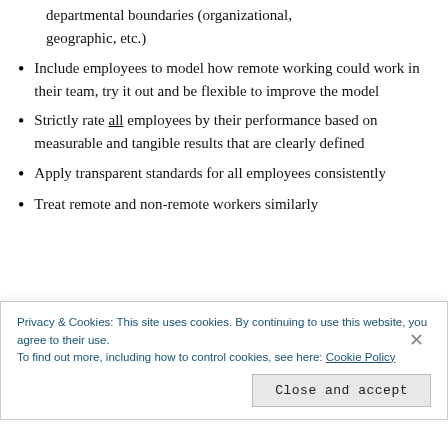departmental boundaries (organizational, geographic, etc.)
Include employees to model how remote working could work in their team, try it out and be flexible to improve the model
Strictly rate all employees by their performance based on measurable and tangible results that are clearly defined
Apply transparent standards for all employees consistently
Treat remote and non-remote workers similarly
Privacy & Cookies: This site uses cookies. By continuing to use this website, you agree to their use.
To find out more, including how to control cookies, see here: Cookie Policy